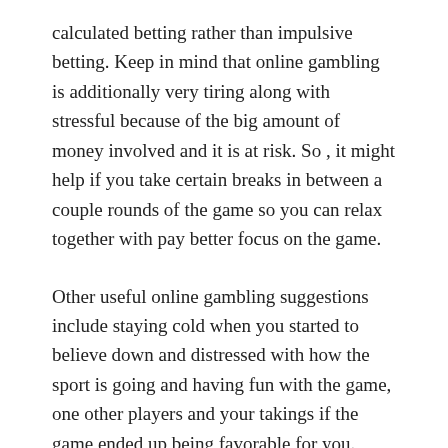calculated betting rather than impulsive betting. Keep in mind that online gambling is additionally very tiring along with stressful because of the big amount of money involved and it is at risk. So , it might help if you take certain breaks in between a couple rounds of the game so you can relax together with pay better focus on the game.
Other useful online gambling suggestions include staying cold when you started to believe down and distressed with how the sport is going and having fun with the game, one other players and your takings if the game ended up being favorable for you.
Selecting an online gambling house is easy, there are a lot ones all over the web. Nonetheless it's not that easy to look through reputable one. It will require more effort